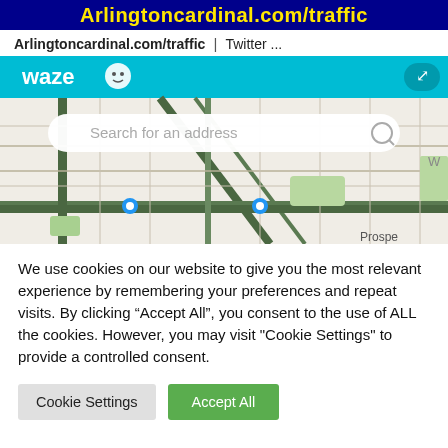Arlingtoncardinal.com/traffic
Arlingtoncardinal.com/traffic | Twitter ...
[Figure (screenshot): Waze map widget showing a street map with search bar 'Search for an address', cyan Waze header with logo, fullscreen button, and map of suburban area with blue markers and road network. 'Prospe' label visible at bottom right.]
We use cookies on our website to give you the most relevant experience by remembering your preferences and repeat visits. By clicking “Accept All”, you consent to the use of ALL the cookies. However, you may visit "Cookie Settings" to provide a controlled consent.
Cookie Settings
Accept All